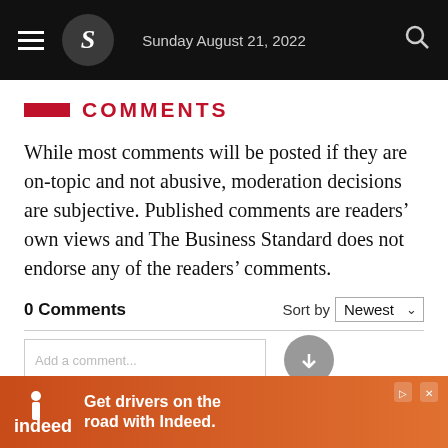Sunday August 21, 2022
COMMENTS
While most comments will be posted if they are on-topic and not abusive, moderation decisions are subjective. Published comments are readers’ own views and The Business Standard does not endorse any of the readers’ comments.
0 Comments
Sort by Newest
[Figure (screenshot): Partial comment input box with a down-arrow button]
[Figure (infographic): Indeed advertisement banner: Get drivers on the road with Indeed.]